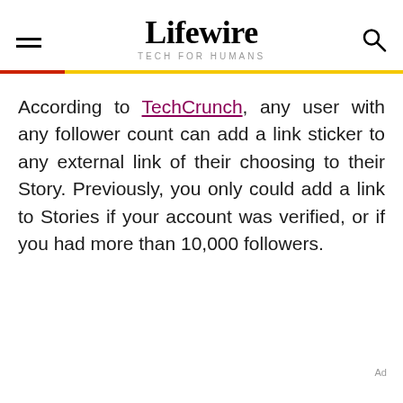Lifewire TECH FOR HUMANS
According to TechCrunch, any user with any follower count can add a link sticker to any external link of their choosing to their Story. Previously, you only could add a link to Stories if your account was verified, or if you had more than 10,000 followers.
Ad